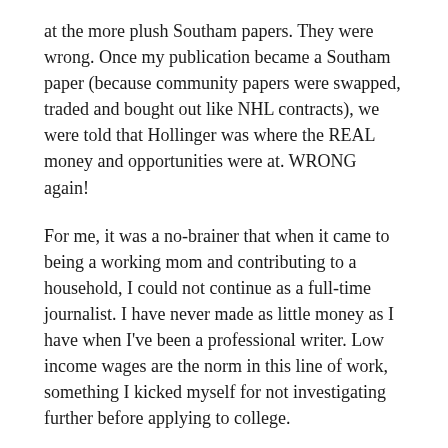at the more plush Southam papers. They were wrong. Once my publication became a Southam paper (because community papers were swapped, traded and bought out like NHL contracts), we were told that Hollinger was where the REAL money and opportunities were at. WRONG again!
For me, it was a no-brainer that when it came to being a working mom and contributing to a household, I could not continue as a full-time journalist. I have never made as little money as I have when I've been a professional writer. Low income wages are the norm in this line of work, something I kicked myself for not investigating further before applying to college.
Truth of the matter is this; journalism, and in fact broadly across the board, I've learned that...